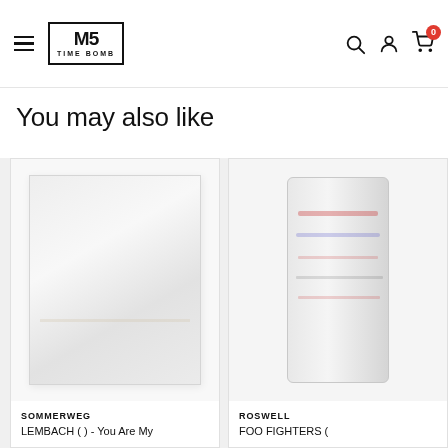Time Bomb Records navigation bar with hamburger menu, logo, search, account and cart icons
You may also like
[Figure (photo): Product image: white vinyl record sleeve for LEMBACH product by SOMMERWEG]
SOMMERWEG
LEMBACH ( ) - You Are My
[Figure (photo): Partially visible product image: cylindrical item for FOO FIGHTERS product by ROSWELL]
ROSWELL
FOO FIGHTERS (